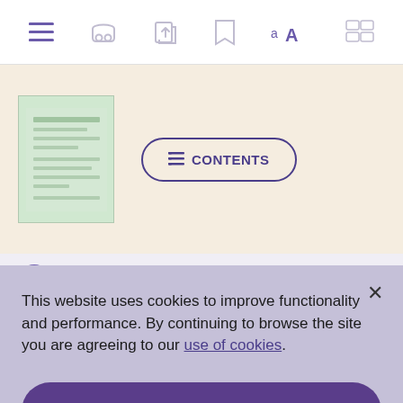[Figure (screenshot): Mobile app toolbar with icons: menu (hamburger list), headphones, share/export, bookmark, font size (aA), and grid/layout icon]
[Figure (screenshot): Book thumbnail and CONTENTS button on a beige/cream background card]
This website uses cookies to improve functionality and performance. By continuing to browse the site you are agreeing to our use of cookies.
I ACCEPT